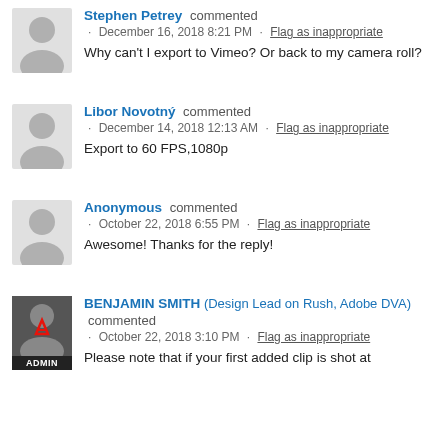Stephen Petrey commented · December 16, 2018 8:21 PM · Flag as inappropriate
Why can't I export to Vimeo? Or back to my camera roll?
Libor Novotný commented · December 14, 2018 12:13 AM · Flag as inappropriate
Export to 60 FPS,1080p
Anonymous commented · October 22, 2018 6:55 PM · Flag as inappropriate
Awesome! Thanks for the reply!
BENJAMIN SMITH (Design Lead on Rush, Adobe DVA) commented · October 22, 2018 3:10 PM · Flag as inappropriate
Please note that if your first added clip is shot at